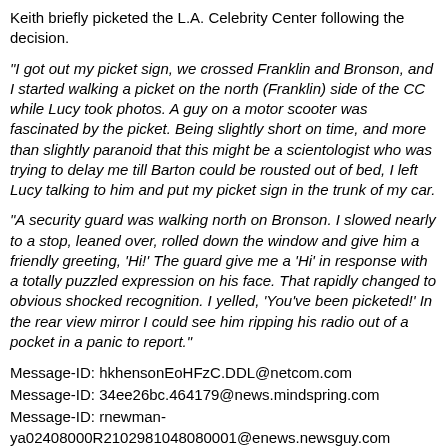Keith briefly picketed the L.A. Celebrity Center following the decision.
"I got out my picket sign, we crossed Franklin and Bronson, and I started walking a picket on the north (Franklin) side of the CC while Lucy took photos. A guy on a motor scooter was fascinated by the picket. Being slightly short on time, and more than slightly paranoid that this might be a scientologist who was trying to delay me till Barton could be rousted out of bed, I left Lucy talking to him and put my picket sign in the trunk of my car.
"A security guard was walking north on Bronson. I slowed nearly to a stop, leaned over, rolled down the window and give him a friendly greeting, 'Hi!' The guard give me a 'Hi' in response with a totally puzzled expression on his face. That rapidly changed to obvious shocked recognition. I yelled, 'You’ve been picketed!' In the rear view mirror I could see him ripping his radio out of a pocket in a panic to report."
Message-ID: hkhensonEoHFzC.DDL@netcom.com
Message-ID: 34ee26bc.464179@news.mindspring.com
Message-ID: rnewman-ya02408000R2102981048080001@enews.newsguy.com
Article